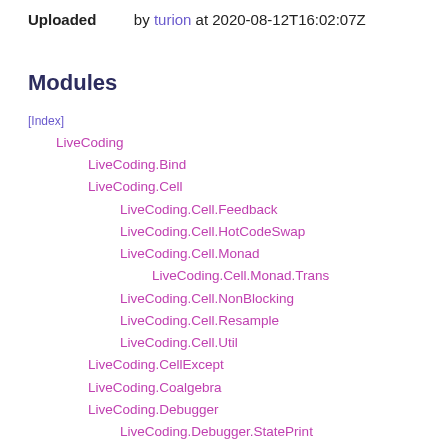Uploaded by turion at 2020-08-12T16:02:07Z
Modules
[Index]
LiveCoding
LiveCoding.Bind
LiveCoding.Cell
LiveCoding.Cell.Feedback
LiveCoding.Cell.HotCodeSwap
LiveCoding.Cell.Monad
LiveCoding.Cell.Monad.Trans
LiveCoding.Cell.NonBlocking
LiveCoding.Cell.Resample
LiveCoding.Cell.Util
LiveCoding.CellExcept
LiveCoding.Coalgebra
LiveCoding.Debugger
LiveCoding.Debugger.StatePrint